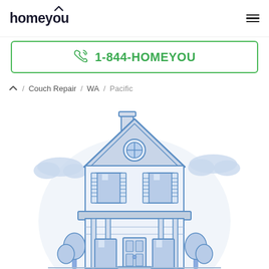homeyou
1-844-HOMEYOU
/ Couch Repair / WA / Pacific
[Figure (illustration): Line-art illustration of a two-story house with blue outlines, shuttered windows, a round window in the roof peak, chimney, porch with columns, trees on either side, and blue cloud shapes in the background on a white background.]